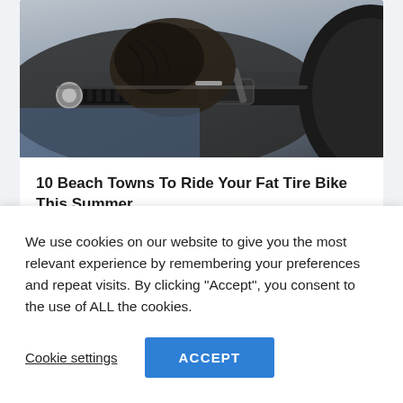[Figure (photo): Close-up photo of a person wearing black leather gloves gripping a motorcycle handlebar, with motorcycle parts visible in the background]
10 Beach Towns To Ride Your Fat Tire Bike This Summer
February 12, 2021
We use cookies on our website to give you the most relevant experience by remembering your preferences and repeat visits. By clicking “Accept”, you consent to the use of ALL the cookies.
Cookie settings   ACCEPT